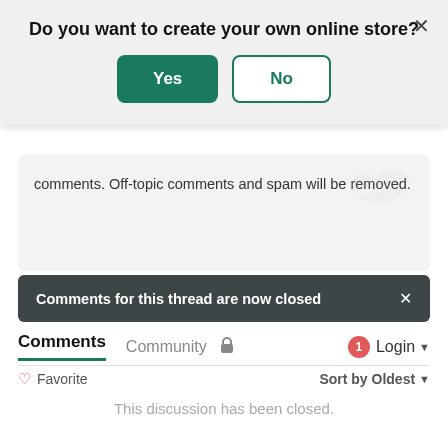Do you want to create your own online store?
Yes
No
comments. Off-topic comments and spam will be removed.
Comments for this thread are now closed
Comments
Community
Login
Favorite
Sort by Oldest
This discussion has been closed.